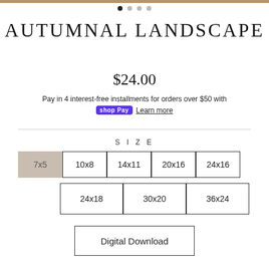[Figure (other): Decorative top image bar (partial autumnal landscape)]
AUTUMNAL LANDSCAPE
$24.00
Pay in 4 interest-free installments for orders over $50 with shop Pay Learn more
SIZE
7x5 | 10x8 | 14x11 | 20x16 | 24x16 | 24x18 | 30x20 | 36x24
Digital Download